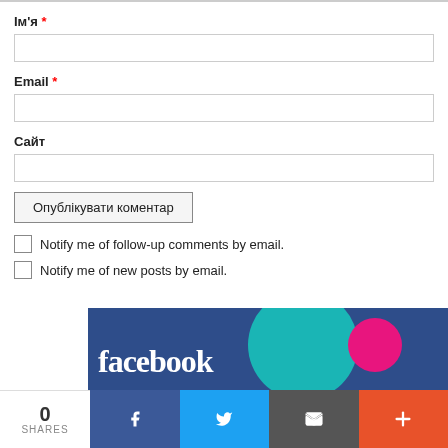Ім'я *
Email *
Сайт
Опублікувати коментар
Notify me of follow-up comments by email.
Notify me of new posts by email.
[Figure (screenshot): Social media sharing bar at bottom with Facebook logo banner, teal and pink circles, and share buttons: 0 SHARES, Facebook, Twitter, Email, Plus]
0 SHARES  f  Twitter  Email  +